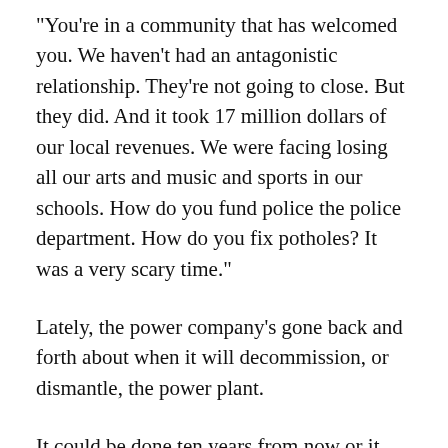“You’re in a community that has welcomed you. We haven’t had an antagonistic relationship. They’re not going to close. But they did. And it took 17 million dollars of our local revenues. We were facing losing all our arts and music and sports in our schools. How do you fund police the police department. How do you fix potholes? It was a very scary time.”
Lately, the power company’s gone back and forth about when it will decommission, or dismantle, the power plant.
It could be done ten years from now or it could take decades more.